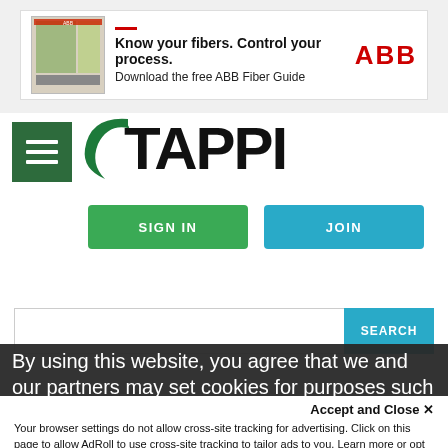[Figure (infographic): ABB advertisement banner: book image on left, text 'Know your fibers. Control your process. Download the free ABB Fiber Guide' with ABB logo on right]
[Figure (logo): TAPPI logo with green swish and bold wordmark]
SIGN IN
JOIN
SEARCH
By using this website, you agree that we and our partners may set cookies for purposes such
Accept and Close ✕
Your browser settings do not allow cross-site tracking for advertising. Click on this page to allow AdRoll to use cross-site tracking to tailor ads to you. Learn more or opt out of this AdRoll tracking by clicking here. This message only appears once.